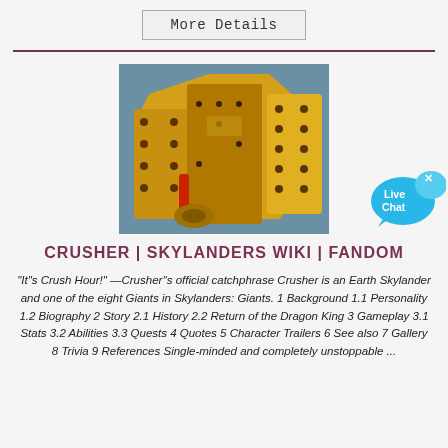More Details
[Figure (photo): Yellow industrial crusher machine with bolted plates and mechanical components, photographed against a blue background in a warehouse setting.]
[Figure (illustration): Live Chat button: a blue speech bubble with 'Live Chat' text and an X close icon.]
CRUSHER | SKYLANDERS WIKI | FANDOM
"It"s Crush Hour!" —Crusher''s official catchphrase Crusher is an Earth Skylander and one of the eight Giants in Skylanders: Giants. 1 Background 1.1 Personality 1.2 Biography 2 Story 2.1 History 2.2 Return of the Dragon King 3 Gameplay 3.1 Stats 3.2 Abilities 3.3 Quests 4 Quotes 5 Character Trailers 6 See also 7 Gallery 8 Trivia 9 References Single-minded and completely unstoppable ...